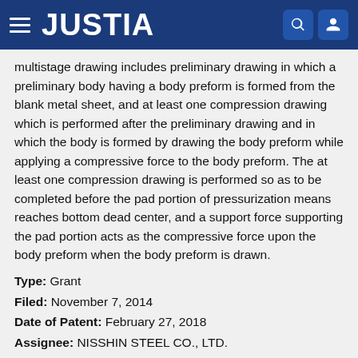JUSTIA
multistage drawing includes preliminary drawing in which a preliminary body having a body preform is formed from the blank metal sheet, and at least one compression drawing which is performed after the preliminary drawing and in which the body is formed by drawing the body preform while applying a compressive force to the body preform. The at least one compression drawing is performed so as to be completed before the pad portion of pressurization means reaches bottom dead center, and a support force supporting the pad portion acts as the compressive force upon the body preform when the body preform is drawn.
Type: Grant
Filed: November 7, 2014
Date of Patent: February 27, 2018
Assignee: NISSHIN STEEL CO., LTD.
Inventors: Naofumi Nakamura, Yudai Yamamoto